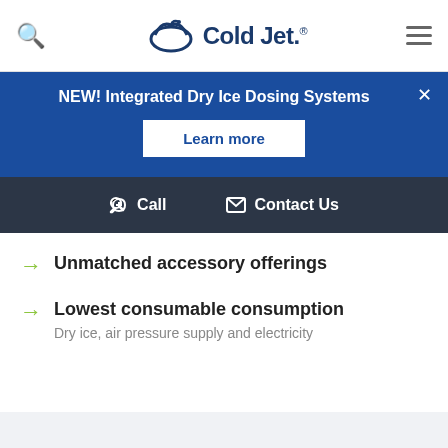Cold Jet
NEW! Integrated Dry Ice Dosing Systems
Learn more
Call   Contact Us
Unmatched accessory offerings
Lowest consumable consumption
Dry ice, air pressure supply and electricity